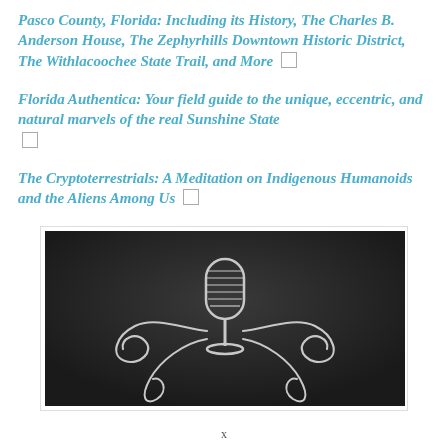Pasco County, Florida: Including its History, The Charles B. Anderson House, The Zephyrhills Downtown Historic District, The Withlacoochee State Trail, and More
Florida Authentica: Your field guide to the unique, eccentric, and natural marvels of the real Sunshine State
The Cryptoterrestrials: A Meditation on Indigenous Humanoids and the Aliens Among Us
[Figure (illustration): Dark background image with a vintage microphone in the center and decorative swirling flourish design in white/grey tones]
x